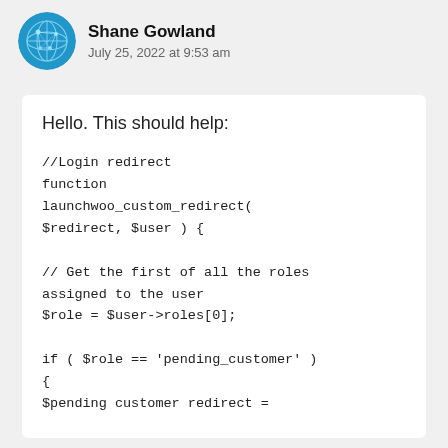Shane Gowland
July 25, 2022 at 9:53 am
Hello. This should help:
//Login redirect
function
launchwoo_custom_redirect(
$redirect, $user ) {

// Get the first of all the roles
assigned to the user
$role = $user->roles[0];

if ( $role == 'pending_customer' )
{
$pending customer redirect =